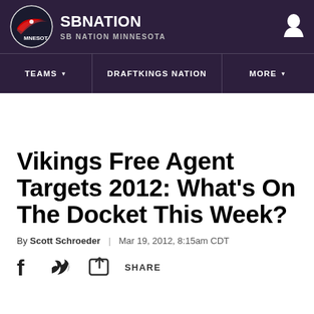SB NATION | SB NATION MINNESOTA
Vikings Free Agent Targets 2012: What's On The Docket This Week?
By Scott Schroeder | Mar 19, 2012, 8:15am CDT